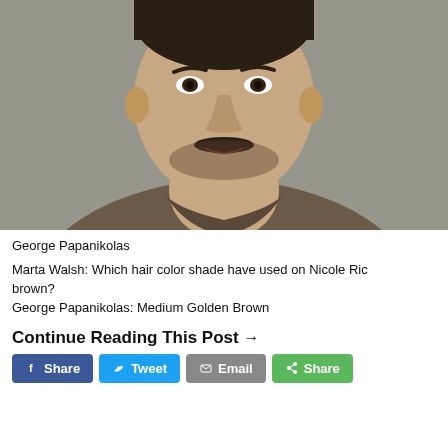[Figure (photo): Close-up portrait of a man with dark hair, mustache and stubble, wearing an open-collar brown shirt, against a grey textured wall background.]
George Papanikolas
Marta Walsh: Which hair color shade have used on Nicole Ric brown?
George Papanikolas: Medium Golden Brown
Continue Reading This Post →
[Figure (other): Social sharing buttons: Facebook Share, Twitter Tweet, Email, Share]